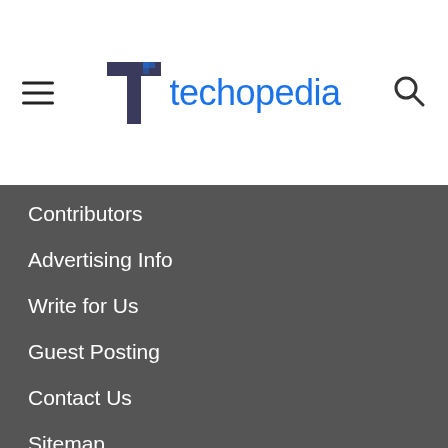[Figure (logo): Techopedia logo with hamburger menu icon on left and search icon on right in page header]
Contributors
Advertising Info
Write for Us
Guest Posting
Contact Us
Sitemap
Follow Us
[Figure (illustration): Three social media icons: Facebook (blue circle with f), Twitter (blue circle with bird), LinkedIn (blue circle with in)]